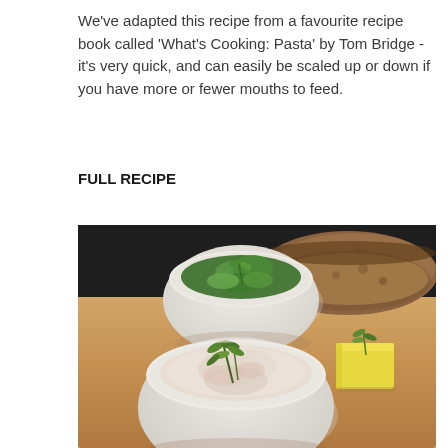We've adapted this recipe from a favourite recipe book called 'What's Cooking: Pasta' by Tom Bridge - it's very quick, and can easily be scaled up or down if you have more or fewer mouths to feed.
FULL RECIPE
[Figure (photo): A wooden board with two white bowls and sliced bread. The back bowl contains chopped cucumber salad with dill. The front bowl contains a creamy dish garnished with dill. A block of butter with dill is on the right side of the board.]